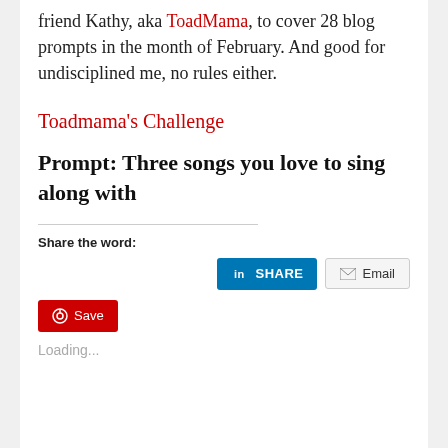friend Kathy, aka ToadMama, to cover 28 blog prompts in the month of February. And good for undisciplined me, no rules either.
Toadmama's Challenge
Prompt: Three songs you love to sing along with
Share the word:
[Figure (other): LinkedIn Share button and Email share button]
[Figure (other): Pinterest Save button]
Loading...